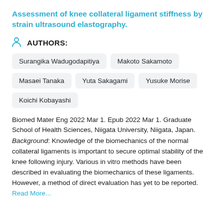Assessment of knee collateral ligament stiffness by strain ultrasound elastography.
AUTHORS:
Surangika Wadugodapitiya
Makoto Sakamoto
Masaei Tanaka
Yuta Sakagami
Yusuke Morise
Koichi Kobayashi
Biomed Mater Eng 2022 Mar 1. Epub 2022 Mar 1. Graduate School of Health Sciences, Niigata University, Niigata, Japan.
Background: Knowledge of the biomechanics of the normal collateral ligaments is important to secure optimal stability of the knee following injury. Various in vitro methods have been described in evaluating the biomechanics of these ligaments. However, a method of direct evaluation has yet to be reported. Read More...